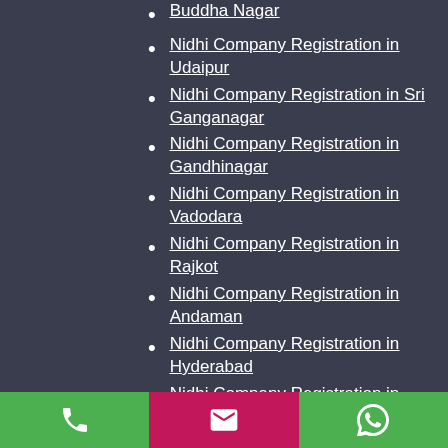Nidhi Company Registration in Buddha Nagar
Nidhi Company Registration in Udaipur
Nidhi Company Registration in Sri Ganganagar
Nidhi Company Registration in Gandhinagar
Nidhi Company Registration in Vadodara
Nidhi Company Registration in Rajkot
Nidhi Company Registration in Andaman
Nidhi Company Registration in Hyderabad
Nidhi Company Registration in Patna
Nidhi Company Registration in Daman
Nidhi Company Registration in Diu
Nidhi Company Registration in Ranchi
Nidhi Company Registration in Bangalore
Nidhi Company Registration in Mysore
Nidhi Company Registration in Indore
Nidhi Company Registration in Tripura